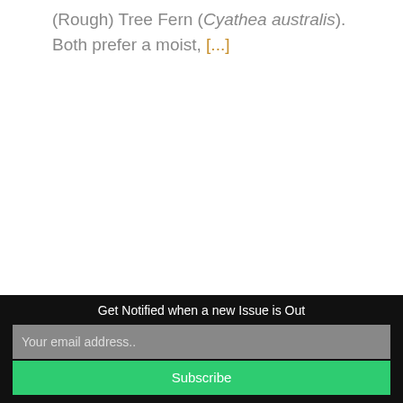(Rough) Tree Fern (Cyathea australis). Both prefer a moist, [...]
Get Notified when a new Issue is Out
Your email address..
Subscribe